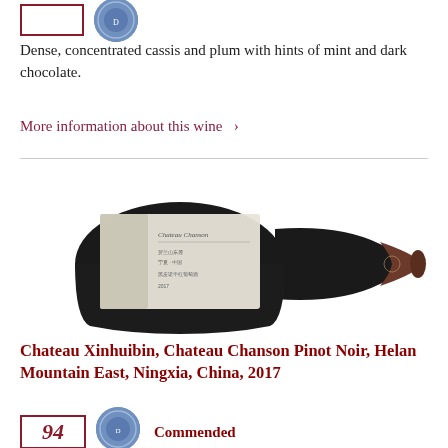[Figure (photo): Score box outline and blue circular Decanter badge at top of page]
Dense, concentrated cassis and plum with hints of mint and dark chocolate.
More information about this wine  ›
[Figure (photo): Wine bottle - Chateau Xinhuibin Chateau Chanson Pinot Noir, dark bottle photographed on white background showing label]
Chateau Xinhuibin, Chateau Chanson Pinot Noir, Helan Mountain East, Ningxia, China, 2017
[Figure (photo): Score box showing partial number 94 and Decanter blue circular badge, with Commended text]
Commended